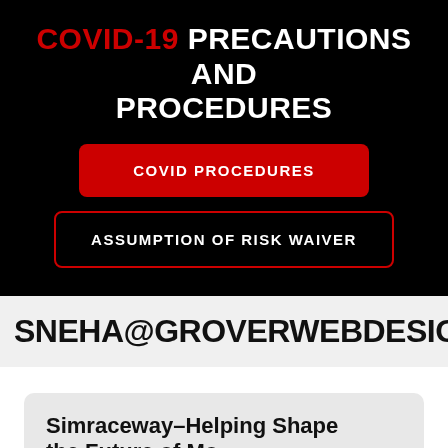COVID-19 PRECAUTIONS AND PROCEDURES
COVID PROCEDURES
ASSUMPTION OF RISK WAIVER
SNEHA@GROVERWEBDESIGN.C
Simraceway–Helping Shape the Future of Motorsport